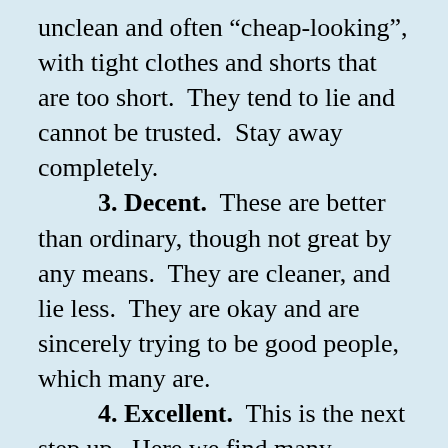unclean and often “cheap-looking”, with tight clothes and shorts that are too short.  They tend to lie and cannot be trusted.  Stay away completely.
3. Decent.  These are better than ordinary, though not great by any means.  They are cleaner, and lie less.  They are okay and are sincerely trying to be good people, which many are.
4. Excellent.  This is the next step up.  Here we find many Christian women and some of the men, although the men are not as